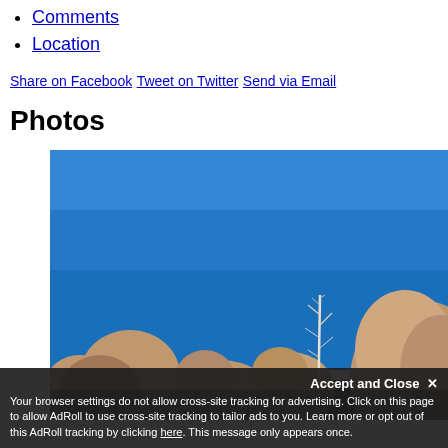Comments
Location
Share on Facebook Tweet on Twitter Send via Email
Photos
[Figure (photo): Outdoor photo of large boulders/rock formations against a deep blue sky, with a tall slender bare tree or plant stalk rising between the rocks.]
Accept and Close ×
Your browser settings do not allow cross-site tracking for advertising. Click on this page to allow AdRoll to use cross-site tracking to tailor ads to you. Learn more or opt out of this AdRoll tracking by clicking here. This message only appears once.